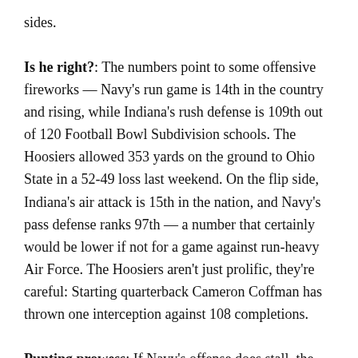sides.
Is he right?: The numbers point to some offensive fireworks — Navy's run game is 14th in the country and rising, while Indiana's rush defense is 109th out of 120 Football Bowl Subdivision schools. The Hoosiers allowed 353 yards on the ground to Ohio State in a 52-49 loss last weekend. On the flip side, Indiana's air attack is 15th in the nation, and Navy's pass defense ranks 97th — a number that certainly would be lower if not for a game against run-heavy Air Force. The Hoosiers aren't just prolific, they're careful: Starting quarterback Cameron Coffman has thrown one interception against 108 completions.
Punting prowess: If Navy's offense does stall, the Mids have a secret weapon — sophomore punter Pablo Beltran, whose 45.5 yards-per-punt average is 10th in the